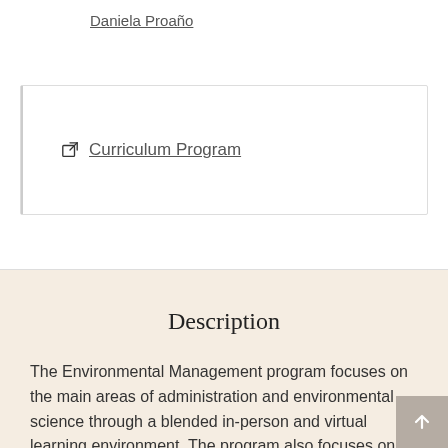Daniela Proaño
Curriculum Program
Description
The Environmental Management program focuses on the main areas of administration and environmental science through a blended in-person and virtual learning environment. The program also focuses on company management, projects, processes, and organizations relating to the management and conservation of natural resources and ecotourism